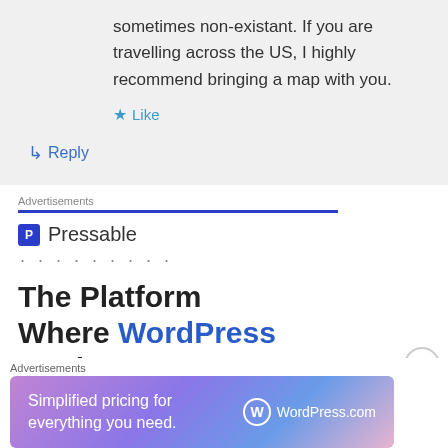sometimes non-existant. If you are travelling across the US, I highly recommend bringing a map with you.
★ Like
↳ Reply
Advertisements
[Figure (logo): Pressable logo with blue P icon and name]
· · · · · · · · ·
The Platform Where WordPress Works Best
Advertisements
[Figure (infographic): WordPress.com ad banner with gradient background: Simplified pricing for everything you need. WordPress.com]